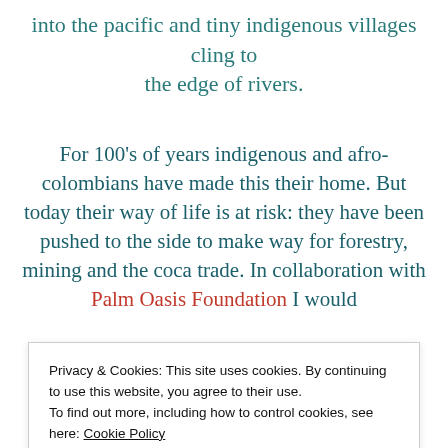into the pacific and tiny indigenous villages cling to the edge of rivers.
For 100’s of years indigenous and afro-colombians have made this their home. But today their way of life is at risk: they have been pushed to the side to make way for forestry, mining and the coca trade. In collaboration with Palm Oasis Foundation I would
Privacy & Cookies: This site uses cookies. By continuing to use this website, you agree to their use.
To find out more, including how to control cookies, see here: Cookie Policy
Close and accept
Colombian Pacific